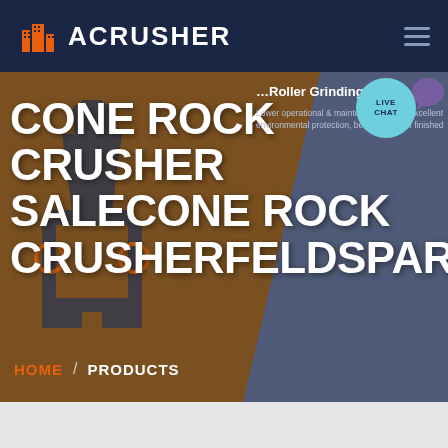ACRUSHER
[Figure (screenshot): ACrusher website screenshot showing navigation bar with orange building logo and ACRUSHER text, hamburger menu icon on right]
CONE ROCK CRUSHER SALECONE ROCK CRUSHERFELDSPAR
[Figure (photo): Cone rock crusher machine silhouette in dark blue against brown/amber background, with right panel showing product info for Roller Grinding Mill with text about lower operational & maintenance costs, excellent environmental protection, better quality of finished]
Roller Grinding Mill
Lower operational & maintenance costs, excellent environmental protection, better quality of finished
HOME / PRODUCTS